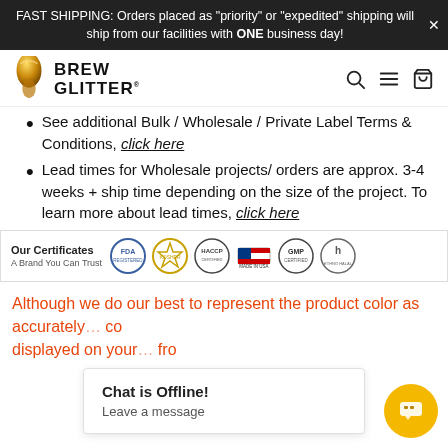FAST SHIPPING: Orders placed as "priority" or "expedited" shipping will ship from our facilities with ONE business day!
[Figure (logo): Brew Glitter logo with golden gem and bold text]
See additional Bulk / Wholesale / Private Label Terms & Conditions, click here
Lead times for Wholesale projects/ orders are approx. 3-4 weeks + ship time depending on the size of the project. To learn more about lead times, click here
[Figure (infographic): Our Certificates - A Brand You Can Trust. Badges: FDA, Kosher, HACCP, Made in USA, GMP Certified, Ethno Halal]
Although we do our best to represent the product color as accurately as possible, co displayed on your fro
[Figure (screenshot): Chat popup: 'Chat is Offline! Leave a message' with yellow chat button]